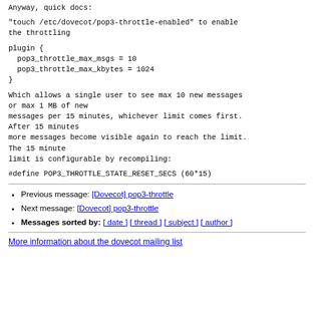Anyway, quick docs:
"touch /etc/dovecot/pop3-throttle-enabled" to enable the throttling
plugin {
  pop3_throttle_max_msgs = 10
  pop3_throttle_max_kbytes = 1024
}
Which allows a single user to see max 10 new messages or max 1 MB of new messages per 15 minutes, whichever limit comes first. After 15 minutes more messages become visible again to reach the limit. The 15 minute limit is configurable by recompiling:
#define POP3_THROTTLE_STATE_RESET_SECS (60*15)
Previous message: [Dovecot] pop3-throttle
Next message: [Dovecot] pop3-throttle
Messages sorted by: [ date ] [ thread ] [ subject ] [ author ]
More information about the dovecot mailing list